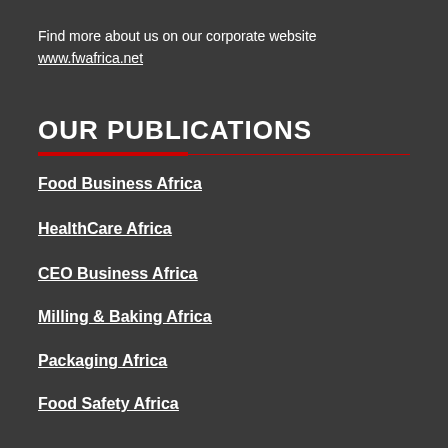Find more about us on our corporate website
www.fwafrica.net
OUR PUBLICATIONS
Food Business Africa
HealthCare Africa
CEO Business Africa
Milling & Baking Africa
Packaging Africa
Food Safety Africa